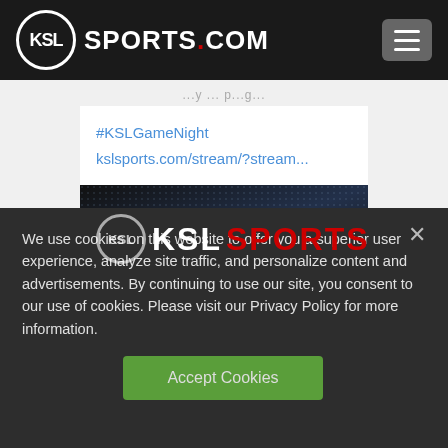KSL SPORTS.COM
...y...p...g...
#KSLGameNight
kslsports.com/stream/?stream...
[Figure (screenshot): KSL Sports logo on dark textured background]
We use cookies on this website to offer you a superior user experience, analyze site traffic, and personalize content and advertisements. By continuing to use our site, you consent to our use of cookies. Please visit our Privacy Policy for more information.
Accept Cookies